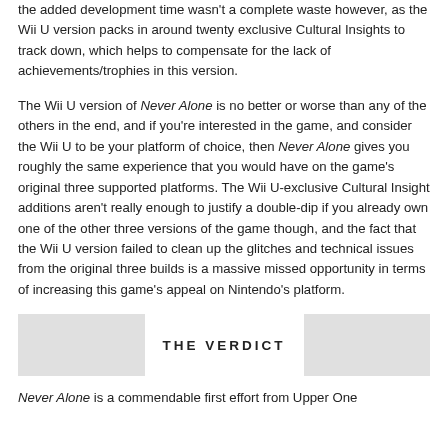the added development time wasn't a complete waste however, as the Wii U version packs in around twenty exclusive Cultural Insights to track down, which helps to compensate for the lack of achievements/trophies in this version.
The Wii U version of Never Alone is no better or worse than any of the others in the end, and if you're interested in the game, and consider the Wii U to be your platform of choice, then Never Alone gives you roughly the same experience that you would have on the game's original three supported platforms. The Wii U-exclusive Cultural Insight additions aren't really enough to justify a double-dip if you already own one of the other three versions of the game though, and the fact that the Wii U version failed to clean up the glitches and technical issues from the original three builds is a massive missed opportunity in terms of increasing this game's appeal on Nintendo's platform.
THE VERDICT
Never Alone is a commendable first effort from Upper One